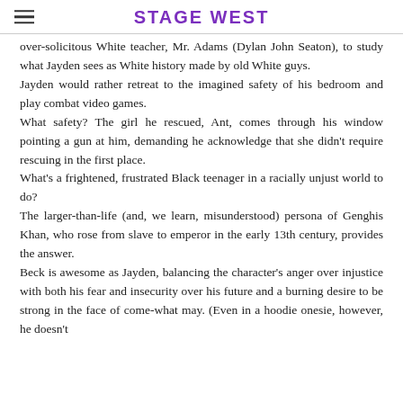STAGE WEST
over-solicitous White teacher, Mr. Adams (Dylan John Seaton), to study what Jayden sees as White history made by old White guys.

Jayden would rather retreat to the imagined safety of his bedroom and play combat video games.

What safety? The girl he rescued, Ant, comes through his window pointing a gun at him, demanding he acknowledge that she didn't require rescuing in the first place.

What's a frightened, frustrated Black teenager in a racially unjust world to do?

The larger-than-life (and, we learn, misunderstood) persona of Genghis Khan, who rose from slave to emperor in the early 13th century, provides the answer.

Beck is awesome as Jayden, balancing the character's anger over injustice with both his fear and insecurity over his future and a burning desire to be strong in the face of come-what may. (Even in a hoodie onesie, however, he doesn't